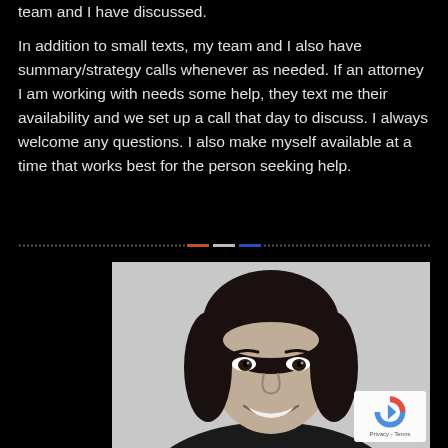team and I have discussed.
In addition to small texts, my team and I also have summary/strategy calls whenever as needed. If an attorney I am working with needs some help, they text me their availability and we set up a call that day to discuss. I always welcome any questions. I also make myself available at a time that works best for the person seeking help.
[Figure (other): Decorative divider row with dotted lines on both sides and three short colored dashes (orange, white/gray, blue) in the center]
[Figure (photo): Black and white portrait photo of a smiling woman with dark hair and bangs, light background]